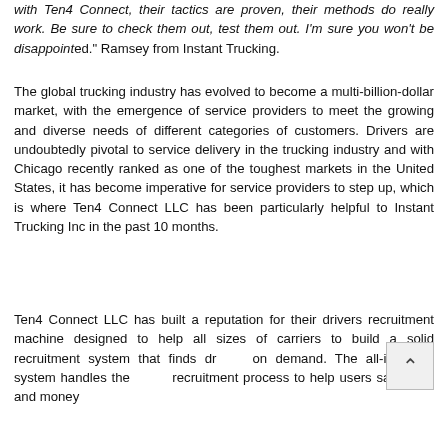with Ten4 Connect, their tactics are proven, their methods do really work. Be sure to check them out, test them out. I'm sure you won't be disappointed." Ramsey from Instant Trucking.
The global trucking industry has evolved to become a multi-billion-dollar market, with the emergence of service providers to meet the growing and diverse needs of different categories of customers. Drivers are undoubtedly pivotal to service delivery in the trucking industry and with Chicago recently ranked as one of the toughest markets in the United States, it has become imperative for service providers to step up, which is where Ten4 Connect LLC has been particularly helpful to Instant Trucking Inc in the past 10 months.
Ten4 Connect LLC has built a reputation for their drivers recruitment machine designed to help all sizes of carriers to build a solid recruitment system that finds drivers on demand. The all-inclusive system handles the entire recruitment process to help users save time and money